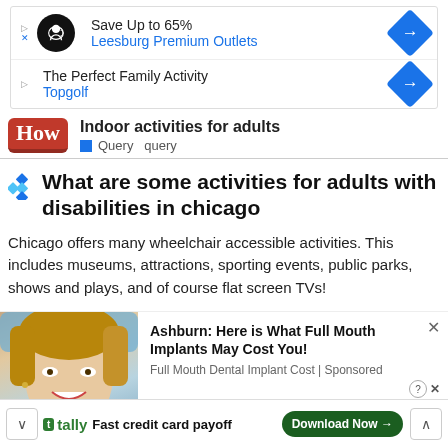[Figure (screenshot): Ad box with two rows: 'Save Up to 65% Leesburg Premium Outlets' and 'The Perfect Family Activity Topgolf', each with navigation arrows]
[Figure (logo): HowStuffWorks logo (red box with white 'How' text)]
Indoor activities for adults
Query  query
What are some activities for adults with disabilities in chicago
Chicago offers many wheelchair accessible activities. This includes museums, attractions, sporting events, public parks, shows and plays, and of course flat screen TVs!
[Figure (photo): Woman smiling at dentist, gloved hands with dental tool visible]
Ashburn: Here is What Full Mouth Implants May Cost You! Full Mouth Dental Implant Cost | Sponsored
[Figure (screenshot): Bottom banner ad for Tally with 'Fast credit card payoff' tagline and 'Download Now' button]